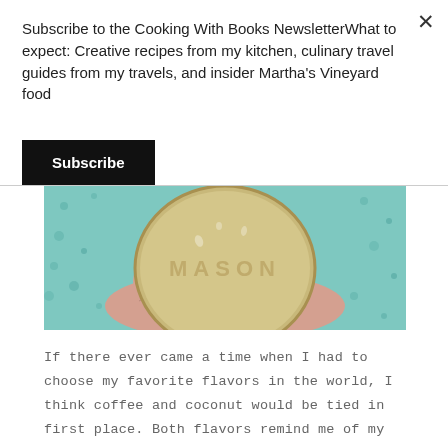Subscribe to the Cooking With Books NewsletterWhat to expect: Creative recipes from my kitchen, culinary travel guides from my travels, and insider Martha's Vineyard food
Subscribe
[Figure (photo): A hand holding a round Mason jar lid against a teal/aqua lace fabric background. The embossed word MASON is visible on the lid.]
If there ever came a time when I had to choose my favorite flavors in the world, I think coffee and coconut would be tied in first place. Both flavors remind me of my home island of the Dominican